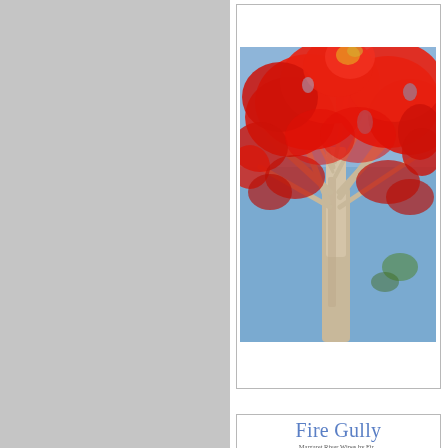[Figure (photo): A tree with vivid red foliage against a blue sky, viewed from below looking upward. The trunk is pale and the canopy is dense with brilliant red-orange leaves.]
Fire Gully
Margaret River Wines by Fir...